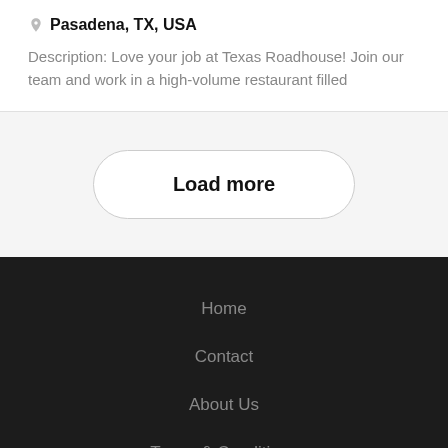Pasadena, TX, USA
Description: Love your job at Texas Roadhouse! Join our team and work in a high-volume restaurant filled
Load more
Home
Contact
About Us
Terms & Conditions